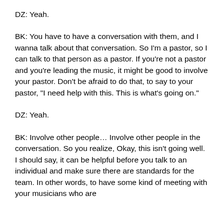DZ: Yeah.
BK: You have to have a conversation with them, and I wanna talk about that conversation. So I'm a pastor, so I can talk to that person as a pastor. If you're not a pastor and you're leading the music, it might be good to involve your pastor. Don't be afraid to do that, to say to your pastor, "I need help with this. This is what's going on."
DZ: Yeah.
BK: Involve other people… Involve other people in the conversation. So you realize, Okay, this isn't going well. I should say, it can be helpful before you talk to an individual and make sure there are standards for the team. In other words, to have some kind of meeting with your musicians who are